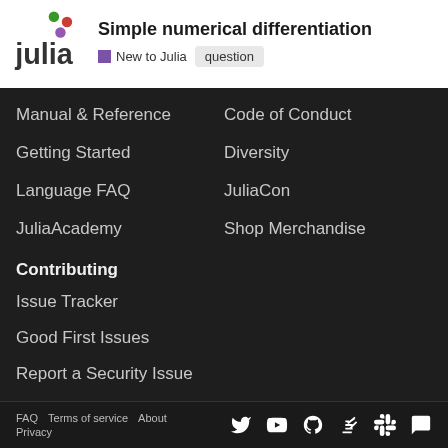Simple numerical differentiation — New to Julia | question
Manual & Reference
Code of Conduct
Getting Started
Diversity
Language FAQ
JuliaCon
JuliaAcademy
Shop Merchandise
Contributing
Issue Tracker
Good First Issues
Report a Security Issue
Sponsor on GitHub
FAQ   Terms of service   About   Privacy